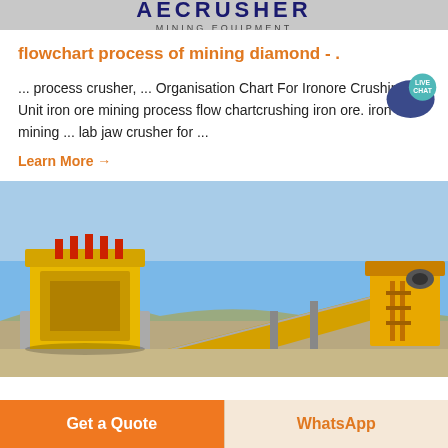AERCRUSHER MINING EQUIPMENT
flowchart process of mining diamond - .
... process crusher, ... Organisation Chart For Ironore Crushing Unit iron ore mining process flow chartcrushing iron ore. iron ore mining ... lab jaw crusher for ...
Learn More →
[Figure (photo): Outdoor photo of yellow mining crushing and conveyor belt equipment in an arid landscape under a blue sky.]
Get a Quote
WhatsApp